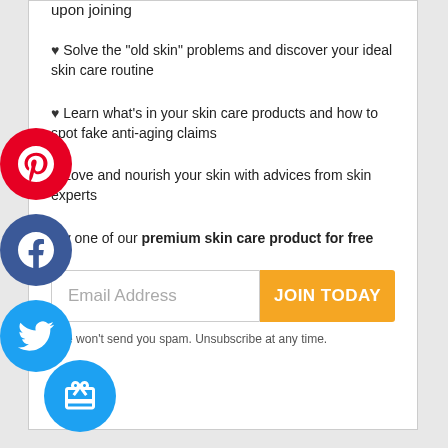upon joining
♥ Solve the "old skin" problems and discover your ideal skin care routine
♥ Learn what's in your skin care products and how to spot fake anti-aging claims
♥ Love and nourish your skin with advices from skin experts
Try one of our premium skin care product for free
Email Address
JOIN TODAY
We won't send you spam. Unsubscribe at any time.